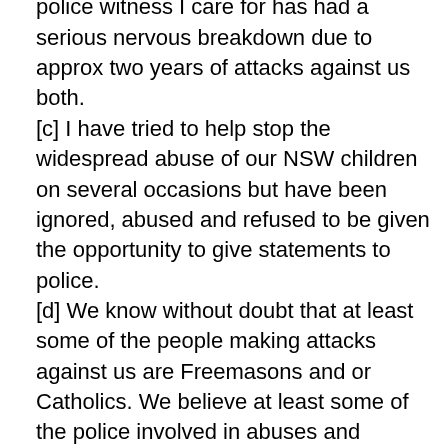doctors have stated that the courageous police witness I care for has had a serious nervous breakdown due to approx two years of attacks against us both.
[c] I have tried to help stop the widespread abuse of our NSW children on several occasions but have been ignored, abused and refused to be given the opportunity to give statements to police.
[d] We know without doubt that at least some of the people making attacks against us are Freemasons and or Catholics. We believe at least some of the police involved in abuses and lawless behaviour against us and other child abuse victims/witnesses are also Freemasons and or Catholics.
Former policeman such as Inspector Fox and Dinny Ryan apparently know all about this Catholic/Freemason suspicions.
A former friend told me, face to face, that he would have to